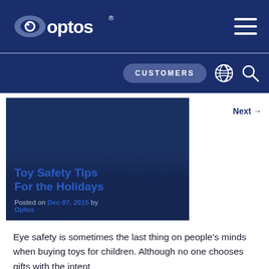[Figure (logo): Optos company logo with eye icon and 'optos' text in white on dark blue background]
CUSTOMERS
[Figure (screenshot): Dark blue featured image block with article title 'Toy Safety Tips For the Holidays' and post metadata]
Toy Safety Tips For the Holidays
Posted on Dec 07, 2015 by Optos
Next →
Eye safety is sometimes the last thing on people's minds when buying toys for children. Although no one chooses gifts with the intent